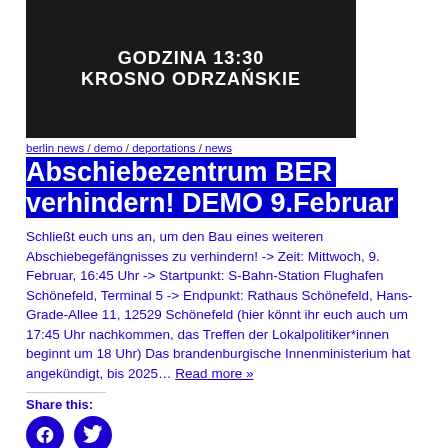[Figure (photo): Dark background image with white bold text: GODZINA 13:30 / KROSNO ODRZAŃSKIE]
berlin news / demo / deportations / news
Abschiebezentrum BER verhindern! DEMO 9.Februar
Schließt euch uns an, um den Bau eines weiteren Abschiebegefängnisses zu verhindern! -> Zeit: Mittwoch, 9. Februar, 16:45 Uhr -> Startpunkt: S-Bahn-Station Flughafen Schönefeld, Terminal 5 -> Endpunkt: Rathaus Schönefeld, Hans-Grade-Allee 11, 12529 Schönefeld (hier könnt ihr euch auch um 17:45 Uhr nachkommen, das Treffen der Lokalpolitiker*innen beginnt um 18 Uhr) Das brandenburgische Innenministerium hat angekündigt, bis 2025… Read more »
Share this:
[Figure (logo): Facebook circle icon]
[Figure (logo): Twitter circle icon]